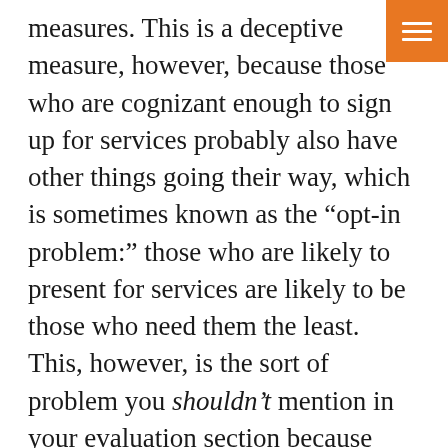measures. This is a deceptive measure, however, because those who are cognizant enough to sign up for services probably also have other things going their way, which is sometimes known as the “opt-in problem:” those who are likely to present for services are likely to be those who need them the least. This, however, is the sort of problem you shouldn’t mention in your evaluation section because doing so will make you look bad, and the reviewers of applications aren’t likely to understand this issue anyway.